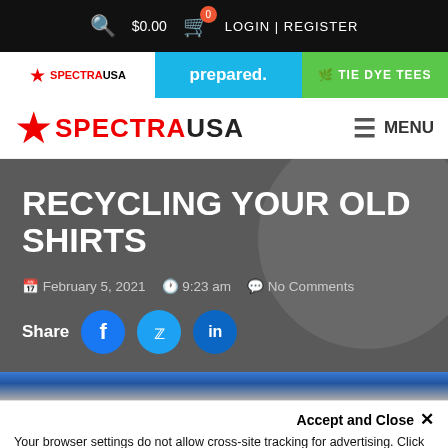$0.00  0  LOGIN | REGISTER
[Figure (screenshot): SpectraUSA logo in promo bar with star icon, 'prepared.' on blue background, 'TIE DYE TEES' on green background]
[Figure (logo): SpectraUSA star logo with large red star and SPECTRAUSA text, plus MENU hamburger button]
RECYCLING YOUR OLD SHIRTS
February 5, 2021  9:23 am  No Comments
Share
Accept and Close ×
Your browser settings do not allow cross-site tracking for advertising. Click on this page to allow AdRoll to use cross-site tracking to tailor ads to you. Learn more or opt out of this AdRoll tracking by clicking here. This message only appears once.